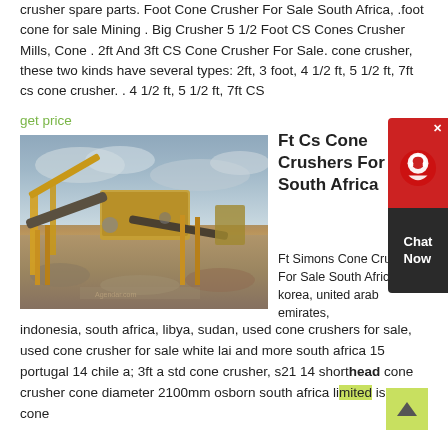crusher spare parts. Foot Cone Crusher For Sale South Africa, .foot cone for sale Mining . Big Crusher 5 1/2 Foot CS Cones Crusher Mills, Cone . 2ft And 3ft CS Cone Crusher For Sale. cone crusher, these two kinds have several types: 2ft, 3 foot, 4 1/2 ft, 5 1/2 ft, 7ft cs cone crusher. . 4 1/2 ft, 5 1/2 ft, 7ft CS
get price
[Figure (photo): Large yellow industrial cone crusher and conveyor machinery at a mining site with rocky terrain and overcast sky]
Ft Cs Cone Crushers For Sale South Africa
Ft Simons Cone Crushers For Sale South Africa-korea, united arab emirates,
indonesia, south africa, libya, sudan, used cone crushers for sale, used cone crusher for sale white lai and more south africa 15 portugal 14 chile a; 3ft a std cone crusher, s21 14 shorthead cone crusher cone diameter 2100mm osborn south africa limited is a. cs cone